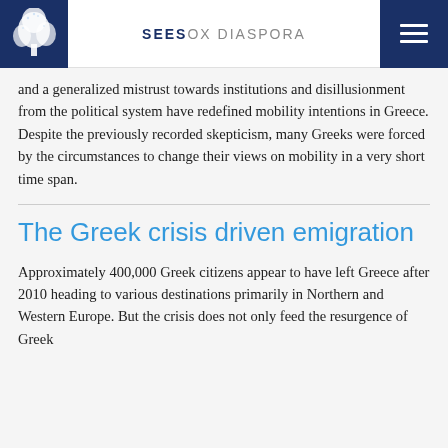SEESOX DIASPORA
and a generalized mistrust towards institutions and disillusionment from the political system have redefined mobility intentions in Greece. Despite the previously recorded skepticism, many Greeks were forced by the circumstances to change their views on mobility in a very short time span.
The Greek crisis driven emigration
Approximately 400,000 Greek citizens appear to have left Greece after 2010 heading to various destinations primarily in Northern and Western Europe. But the crisis does not only feed the resurgence of Greek emigration, it also shapes its characteristics.